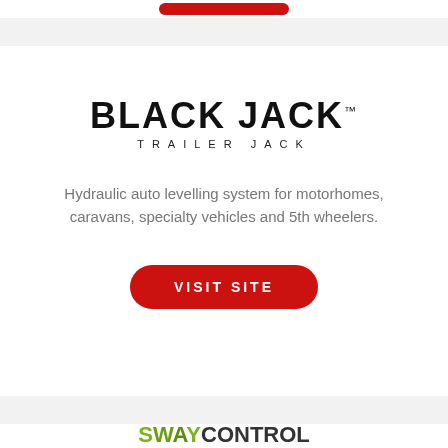[Figure (logo): Red rounded rectangle button visible at top edge of page (partial, cropped)]
[Figure (logo): BLACK JACK TRAILER JACK logo — bold black text 'BLACK JACK' with trademark symbol, subtitle 'TRAILER JACK' in spaced capitals]
Hydraulic auto levelling system for motorhomes, caravans, specialty vehicles and 5th wheelers.
[Figure (other): Red rounded rectangle button labeled 'VISIT SITE' in white uppercase letters]
[Figure (logo): SWAYCONTROL logo in olive/green and dark text, partially visible at bottom of page]